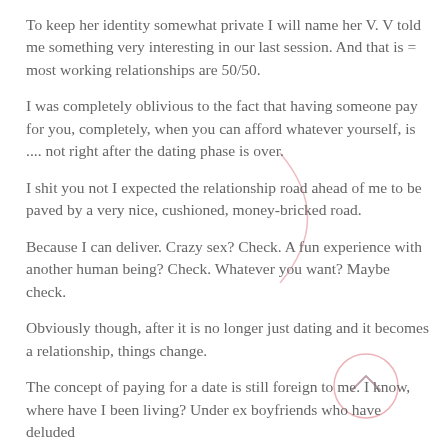To keep her identity somewhat private I will name her V.  V told me something very interesting in our last session.  And that is = most working relationships are 50/50.
I was completely oblivious to the fact that having someone pay for you, completely, when you can afford whatever yourself, is .... not right after the dating phase is over.
I shit you not I expected the relationship road ahead of me to be paved by a very nice, cushioned, money-bricked road.
Because I can deliver.  Crazy sex? Check.  A fun experience with another human being? Check. Whatever you want? Maybe check.
Obviously though, after it is no longer just dating and it becomes a relationship, things change.
The concept of paying for a date is still foreign to me.  I know, where have I been living?  Under ex boyfriends who have deluded